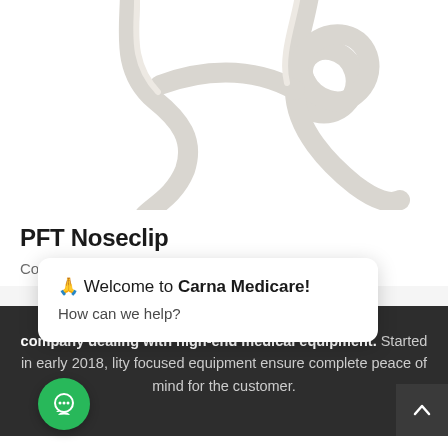[Figure (photo): PFT Noseclip product photo — white plastic noseclip medical device on white background, showing two clip arm shapes]
PFT Noseclip
Consumables / Respiratory
🙏 Welcome to Carna Medicare!
How can we help?
company dealing with high-end medical equipment. Started in early 2018, lity focused equipment ensure complete peace of mind for the customer.